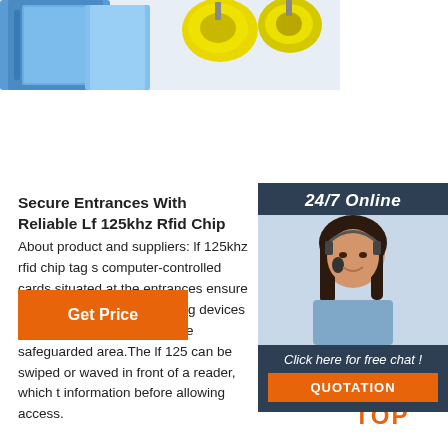[Figure (photo): Product photo showing blue binder folders and yellow RFID ear tags on white background]
Secure Entrances With Reliable Lf 125khz Rfid Chip
About product and suppliers: lf 125khz rfid chip tag s computer-controlled cards situated at the entrances ensure security.If 125khz rfid chip tag devices enabl person to enter into the safeguarded area.The lf 125 can be swiped or waved in front of a reader, which t information before allowing access.
[Figure (photo): 24/7 Online customer support widget showing woman with headset, 'Click here for free chat!' text, and orange QUOTATION button]
Get Price
[Figure (logo): TOP logo with orange dot triangle above orange text TOP]